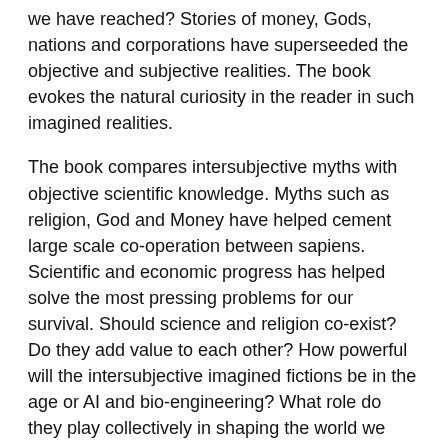we have reached? Stories of money, Gods, nations and corporations have superseeded the objective and subjective realities. The book evokes the natural curiosity in the reader in such imagined realities.
The book compares intersubjective myths with objective scientific knowledge. Myths such as religion, God and Money have helped cement large scale co-operation between sapiens. Scientific and economic progress has helped solve the most pressing problems for our survival. Should science and religion co-exist? Do they add value to each other? How powerful will the intersubjective imagined fictions be in the age or AI and bio-engineering? What role do they play collectively in shaping the world we have today? Eventually we are lead into humanism – the worship of humankind, the most important religion of all. I like this section of the book because of the way it is written. It is full of real world